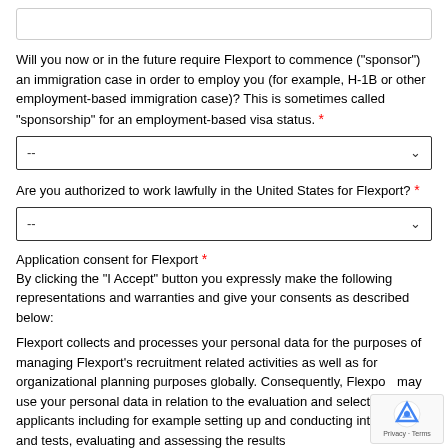[text input box]
Will you now or in the future require Flexport to commence ("sponsor") an immigration case in order to employ you (for example, H-1B or other employment-based immigration case)? This is sometimes called "sponsorship" for an employment-based visa status. *
-- (dropdown)
Are you authorized to work lawfully in the United States for Flexport? *
-- (dropdown)
Application consent for Flexport *
By clicking the "I Accept" button you expressly make the following representations and warranties and give your consents as described below:
Flexport collects and processes your personal data for the purposes of managing Flexport's recruitment related activities as well as for organizational planning purposes globally. Consequently, Flexport may use your personal data in relation to the evaluation and selection of applicants including for example setting up and conducting interviews and tests, evaluating and assessing the results